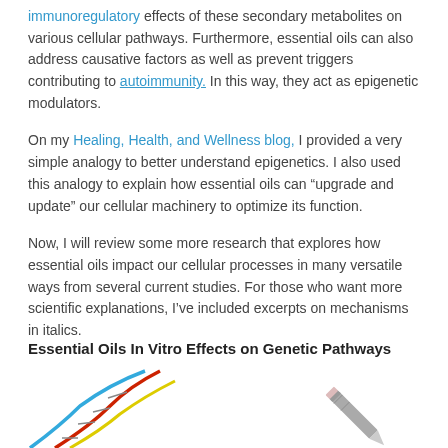immunoregulatory effects of these secondary metabolites on various cellular pathways. Furthermore, essential oils can also address causative factors as well as prevent triggers contributing to autoimmunity. In this way, they act as epigenetic modulators.
On my Healing, Health, and Wellness blog, I provided a very simple analogy to better understand epigenetics. I also used this analogy to explain how essential oils can "upgrade and update" our cellular machinery to optimize its function.
Now, I will review some more research that explores how essential oils impact our cellular processes in many versatile ways from several current studies. For those who want more scientific explanations, I've included excerpts on mechanisms in italics.
Essential Oils In Vitro Effects on Genetic Pathways
[Figure (illustration): Partial view of a colorful DNA helix illustration on the left and a pencil/pen on the right, cropped at bottom of page]